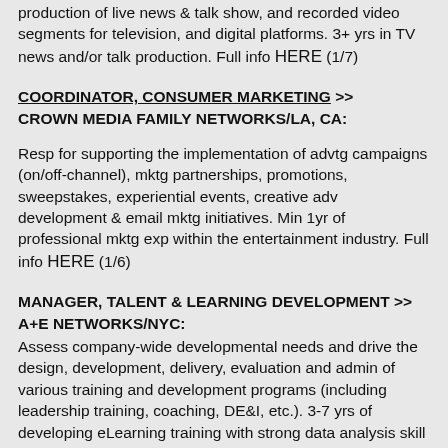production of live news & talk show, and recorded video segments for television, and digital platforms. 3+ yrs in TV news and/or talk production. Full info HERE (1/7)
COORDINATOR, CONSUMER MARKETING >> CROWN MEDIA FAMILY NETWORKS/LA, CA:
Resp for supporting the implementation of advtg campaigns (on/off-channel), mktg partnerships, promotions, sweepstakes, experiential events, creative adv development & email mktg initiatives. Min 1yr of professional mktg exp within the entertainment industry. Full info HERE (1/6)
MANAGER, TALENT & LEARNING DEVELOPMENT >> A+E NETWORKS/NYC:
Assess company-wide developmental needs and drive the design, development, delivery, evaluation and admin of various training and development programs (including leadership training, coaching, DE&I, etc.). 3-7 yrs of developing eLearning training with strong data analysis skill and excellent communication